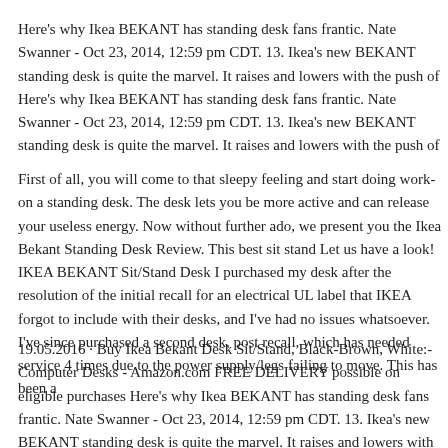Here's why Ikea BEKANT has standing desk fans frantic. Nate Swanner - Oct 23, 2014, 12:59 pm CDT. 13. Ikea's new BEKANT standing desk is quite the marvel. It raises and lowers with the push of Here's why Ikea BEKANT has standing desk fans frantic. Nate Swanner - Oct 23, 2014, 12:59 pm CDT. 13. Ikea's new BEKANT standing desk is quite the marvel. It raises and lowers with the push of
First of all, you will come to that sleepy feeling and start doing work on a standing desk. The desk lets you be more active and can release your useless energy. Now without further ado, we present you the Ikea Bekant Standing Desk Review. This best sit stand desk is quite affordable. Let us have a look! IKEA BEKANT Sit/Stand Desk I purchased my desk after the resolution of an initial recall for an electrical UL label that IKEA forgot to include with their desks, and I've had no issues whatsoever. I've since purchased a second desk, post recall, which has needed service 4 times due to the power supply/legs failing to move. This has been a
19.05.2016 · Buy Ikea Bekant Desk Sit/Stand, Black-Brown, White: Computer Desks - Amazon.com FREE DELIVERY possible on eligible purchases Here's why Ikea BEKANT has standing desk fans frantic. Nate Swanner - Oct 23, 2014, 12:59 pm CDT. 13. Ikea's new BEKANT standing desk is quite the marvel. It raises and lowers with